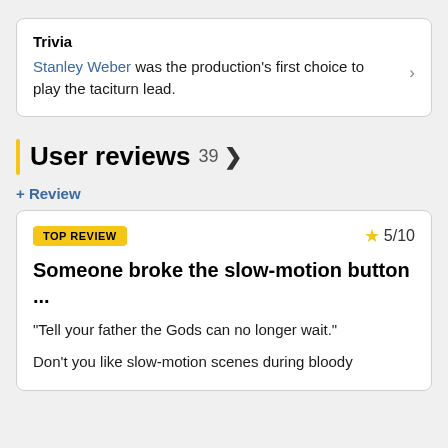Trivia
Stanley Weber was the production's first choice to play the taciturn lead.
User reviews 39 >
+ Review
TOP REVIEW  ★ 5/10
Someone broke the slow-motion button ...
"Tell your father the Gods can no longer wait."
Don't you like slow-motion scenes during bloody